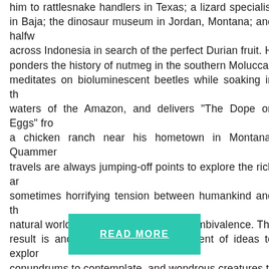him to rattlesnake handlers in Texas; a lizard specialist in Baja; the dinosaur museum in Jordan, Montana; and halfway across Indonesia in search of the perfect Durian fruit. He ponders the history of nutmeg in the southern Moluccas; meditates on bioluminescent beetles while soaking in the waters of the Amazon, and delivers "The Dope on Eggs" from a chicken ranch near his hometown in Montana. Quammen's travels are always jumping-off points to explore the rich and sometimes horrifying tension between humankind and the natural world, in all its complexity and ambivalence. The result is another irrepressible assortment of ideas to explore, conundrums to contemplate, and wondrous creatures to behold.
READ MORE